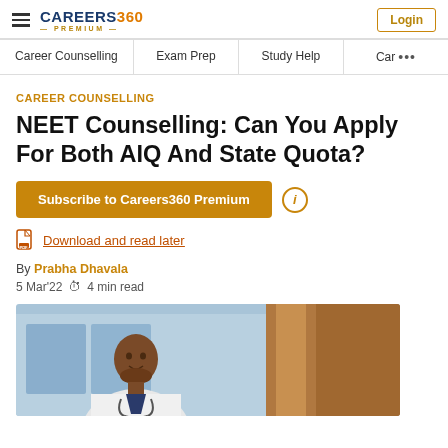CAREERS360 PREMIUM | Login
Career Counselling | Exam Prep | Study Help | Car ...
CAREER COUNSELLING
NEET Counselling: Can You Apply For Both AIQ And State Quota?
Subscribe to Careers360 Premium
Download and read later
By Prabha Dhavala
5 Mar'22  4 min read
[Figure (photo): A male doctor in a white coat with a stethoscope, photographed from chest up, with a blurred background.]